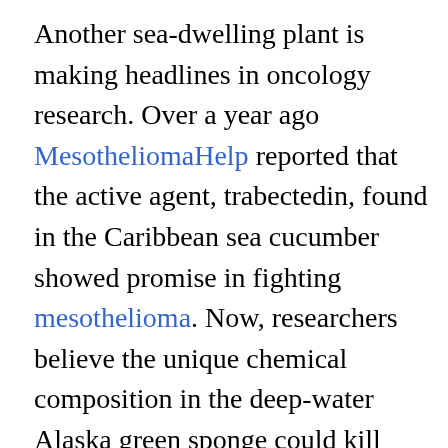Another sea-dwelling plant is making headlines in oncology research. Over a year ago MesotheliomaHelp reported that the active agent, trabectedin, found in the Caribbean sea cucumber showed promise in fighting mesothelioma. Now, researchers believe the unique chemical composition in the deep-water Alaska green sponge could kill cancer cells. This discovery could lead to treatments for pancreatic cancer, and other aggressive cancers such as mesothelioma.
Found by National Oceanic and Atmospheric Administration (NOAA) scientist Bob Stone in 2005